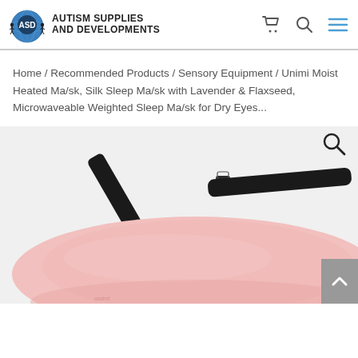[Figure (logo): Autism Supplies and Developments logo with globe and ASD text]
Home / Recommended Products / Sensory Equipment / Unimi Moist Heated Ma/sk, Silk Sleep Ma/sk with Lavender & Flaxseed, Microwaveable Weighted Sleep Ma/sk for Dry Eyes...
[Figure (photo): Pink silk sleep eye mask with black elastic strap, viewed from above on white background]